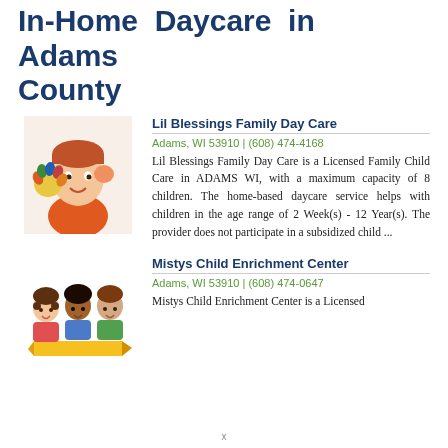In-Home Daycare in Adams County
[Figure (photo): Child with painted hands held up to face]
Lil Blessings Family Day Care
Adams, WI 53910 | (608) 474-4168
Lil Blessings Family Day Care is a Licensed Family Child Care in ADAMS WI, with a maximum capacity of 8 children. The home-based daycare service helps with children in the age range of 2 Week(s) - 12 Year(s). The provider does not participate in a subsidized child ...
[Figure (illustration): Cartoon children with pencils illustration]
Mistys Child Enrichment Center
Adams, WI 53910 | (608) 474-0647
Mistys Child Enrichment Center is a Licensed
x